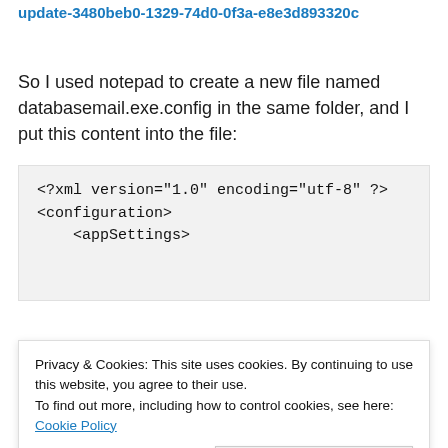update-3480beb0-1329-74d0-0f3a-e8e3d893320c
So I used notepad to create a new file named databasemail.exe.config in the same folder, and I put this content into the file:
<?xml version="1.0" encoding="utf-8" ?>
<configuration>
    <appSettings>
Privacy & Cookies: This site uses cookies. By continuing to use this website, you agree to their use.
To find out more, including how to control cookies, see here: Cookie Policy
Close and accept
version="v4.0"